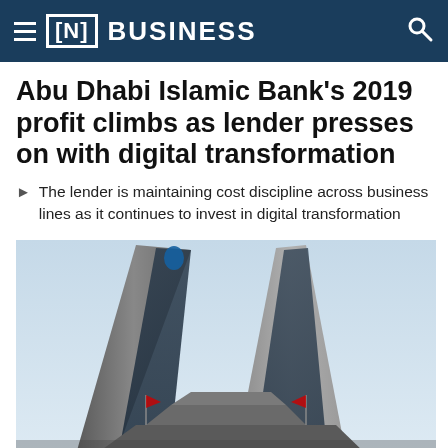[N] BUSINESS
Abu Dhabi Islamic Bank's 2019 profit climbs as lender presses on with digital transformation
The lender is maintaining cost discipline across business lines as it continues to invest in digital transformation
[Figure (photo): Exterior view looking up at the Abu Dhabi Islamic Bank (ADIB) twin tower headquarters building against a light blue sky, showing the distinctive sail-shaped architecture with dark glass facades]